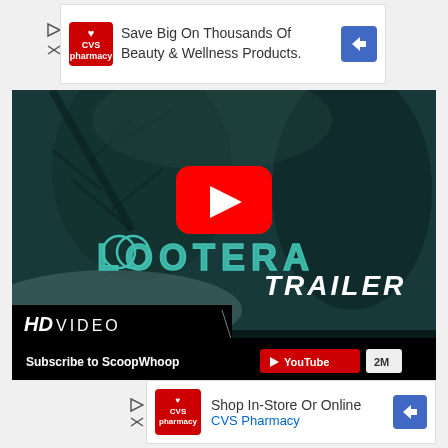[Figure (screenshot): CVS Pharmacy advertisement banner at top: 'Save Big On Thousands Of Beauty & Wellness Products.' with CVS logo and blue arrow icon.]
[Figure (screenshot): YouTube video thumbnail for Lootera Trailer. Dark teal-toned image of two people, YouTube play button in center, 'LOOTERA TRAILER' text in teal and white, 'HD VIDEO' bar at bottom. Subscribe to ScoopWhoop YouTube 2M banner overlay.]
[Figure (screenshot): CVS Pharmacy advertisement banner at bottom: 'Shop In-Store Or Online CVS Pharmacy' with CVS logo and blue arrow icon.]